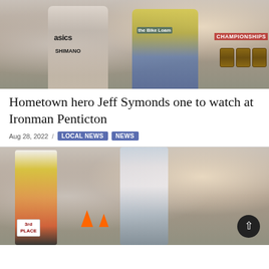[Figure (photo): Two triathletes posing at a championship finish line. Left athlete wears an Asics/Argon18/Shimano jersey. Right athlete wears a Bike Loam jersey. Wooden barrels and championship banners visible in background.]
Hometown hero Jeff Symonds one to watch at Ironman Penticton
Aug 28, 2022  /  LOCAL NEWS  NEWS
[Figure (photo): Cyclists and runners in a triathlon race. Left foreground shows athlete in orange jersey on bicycle with '3rd PLACE' sign. Center shows athlete in light colored outfit. Crowd of spectators lines the course. Orange traffic cones visible.]